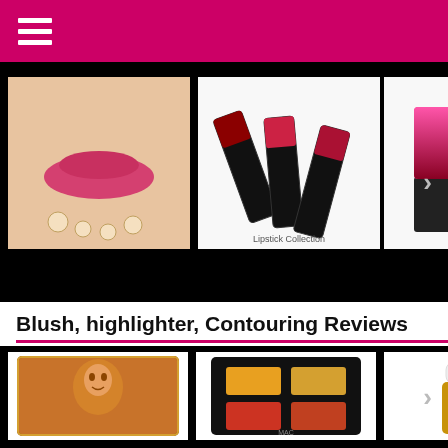Navigation menu (hamburger icon)
[Figure (photo): Carousel of lipstick product photos: woman with pink lips, black lipstick bullets, two pink-to-dark gradient lipsticks on black background]
Blush, highlighter, Contouring Reviews
[Figure (photo): Carousel of blush/highlighter product photos: orange portrait palette, black palette with yellow and red quads, gold liquid highlighter bottle on black background]